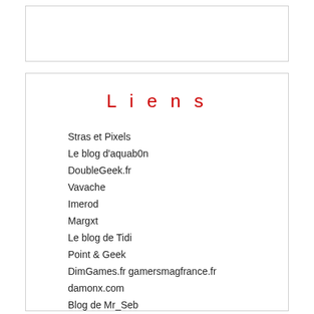Liens
Stras et Pixels
Le blog d'aquab0n
DoubleGeek.fr
Vavache
Imerod
Margxt
Le blog de Tidi
Point & Geek
DimGames.fr gamersmagfrance.fr
damonx.com
Blog de Mr_Seb